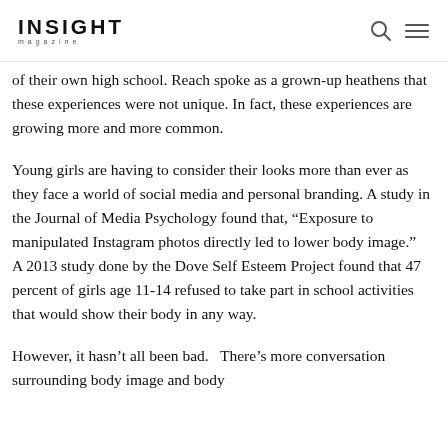INSIGHT magazine
of their own high school. Reach spoke as a grown-up heathens that these experiences were not unique. In fact, these experiences are growing more and more common.
Young girls are having to consider their looks more than ever as they face a world of social media and personal branding. A study in the Journal of Media Psychology found that, “Exposure to manipulated Instagram photos directly led to lower body image.”  A 2013 study done by the Dove Self Esteem Project found that 47 percent of girls age 11-14 refused to take part in school activities that would show their body in any way.
However, it hasn’t all been bad.  There’s more conversation surrounding body image and body